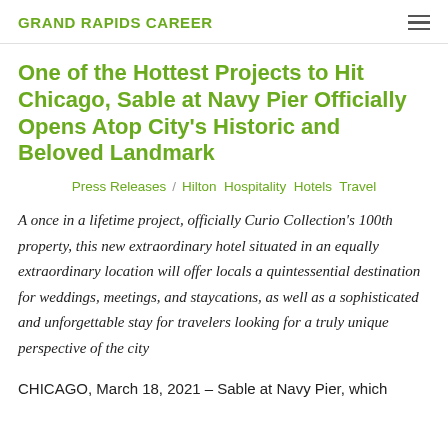GRAND RAPIDS CAREER
One of the Hottest Projects to Hit Chicago, Sable at Navy Pier Officially Opens Atop City's Historic and Beloved Landmark
Press Releases / Hilton Hospitality Hotels Travel
A once in a lifetime project, officially Curio Collection's 100th property, this new extraordinary hotel situated in an equally extraordinary location will offer locals a quintessential destination for weddings, meetings, and staycations, as well as a sophisticated and unforgettable stay for travelers looking for a truly unique perspective of the city
CHICAGO, March 18, 2021 – Sable at Navy Pier, which